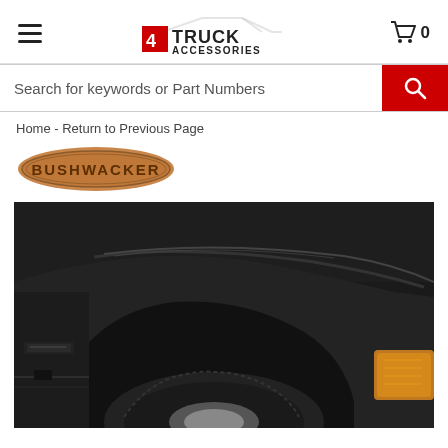4 Truck Accessories — navigation header with hamburger menu, logo, and cart (0 items)
Search for keywords or Part Numbers
Home - Return to Previous Page
[Figure (logo): Bushwacker brand logo — oval badge with tan/brown background and dark text reading BUSHWACKER]
[Figure (photo): Close-up photo of a black truck fender flare installed on a dark pickup truck, showing the wheel well area with tire visible and amber turn signal in the corner]